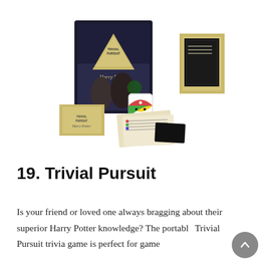[Figure (photo): Harry Potter Trivial Pursuit game set showing the box, triangular game piece holder, trivia cards, and a colorful die displayed on a white background.]
19. Trivial Pursuit
Is your friend or loved one always bragging about their superior Harry Potter knowledge? The portable Trivial Pursuit trivia game is perfect for game